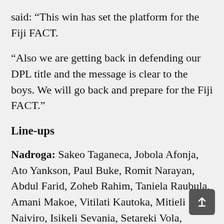said: “This win has set the platform for the Fiji FACT.
“Also we are getting back in defending our DPL title and the message is clear to the boys. We will go back and prepare for the Fiji FACT.”
Line-ups
Nadroga: Sakeo Taganeca, Jobola Afonja, Ato Yankson, Paul Buke, Romit Narayan, Abdul Farid, Zoheb Rahim, Taniela Raubula, Amani Makoe, Vitilati Kautoka, Mitieli Naiviro, Isikeli Sevania, Setareki Vola, Waisea Tale, Semesa Sacere, Ronesh Kumar, Shyamal Narayan, Tuimasi Tuicakau, Zain Ali and Sajneel Sharma.